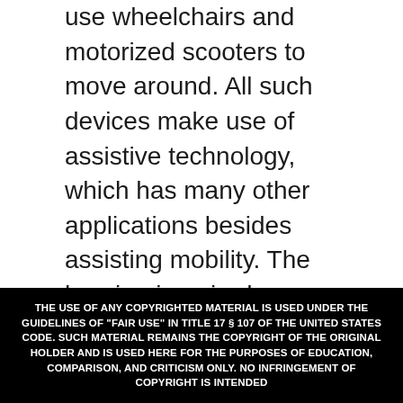use wheelchairs and motorized scooters to move around. All such devices make use of assistive technology, which has many other applications besides assisting mobility. The hearing impaired can use hearing aids, which are amplification devices for making it easy to hear normal sounds. A magnifying glass is a device that helps people with poor vision.
Mobility devices help disabled persons to overcome their disabilities and be treated as equal as any average person by being able to move around independently. It gives them opportunities
THE USE OF ANY COPYRIGHTED MATERIAL IS USED UNDER THE GUIDELINES OF "FAIR USE" IN TITLE 17 § 107 OF THE UNITED STATES CODE. SUCH MATERIAL REMAINS THE COPYRIGHT OF THE ORIGINAL HOLDER AND IS USED HERE FOR THE PURPOSES OF EDUCATION, COMPARISON, AND CRITICISM ONLY. NO INFRINGEMENT OF COPYRIGHT IS INTENDED